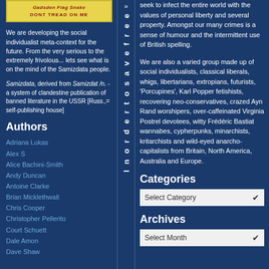[Figure (illustration): Yellow banner with snake illustration and 'DONT TREAD ON ME' text in red/brown]
We are developing the social individualist meta-context for the future. From the very serious to the extremely frivolous... lets see what is on the mind of the Samizdata people.
Samizdata, derived from Samizdat /n. - a system of clandestine publication of banned literature in the USSR [Russ.,= self-publishing house]
Authors
Adriana Lukas
Alex S
Alice Bachini-Smith
Andy Duncan
Antoine Clarke
Brian Micklethwait
Chris Cooper
Christopher Pellerito
Court Schuett
Dale Amon
Dave Shaw
seek to infect the entire world with the values of personal liberty and several property. Amongst our many crimes is a sense of humour and the intermittent use of British spelling.
We are also a varied group made up of social individualists, classical liberals, whigs, libertarians, extropians, futurists, 'Porcupines', Karl Popper fetishists, recovering neo-conservatives, crazed Ayn Rand worshipers, over-caffeinated Virginia Postrel devotees, witty Frédéric Bastiat wannabes, cypherpunks, minarchists, kritarchists and wild-eyed anarcho-capitalists from Britain, North America, Australia and Europe.
Categories
Select Category
Archives
Select Month